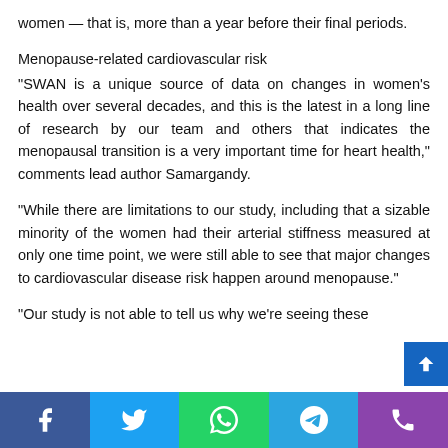women — that is, more than a year before their final periods.
Menopause-related cardiovascular risk
“SWAN is a unique source of data on changes in women’s health over several decades, and this is the latest in a long line of research by our team and others that indicates the menopausal transition is a very important time for heart health,” comments lead author Samargandy.
“While there are limitations to our study, including that a sizable minority of the women had their arterial stiffness measured at only one time point, we were still able to see that major changes to cardiovascular disease risk happen around menopause.”
“Our study is not able to tell us why we’re seeing these
[social share buttons: Facebook, Twitter, WhatsApp, Telegram, Phone]